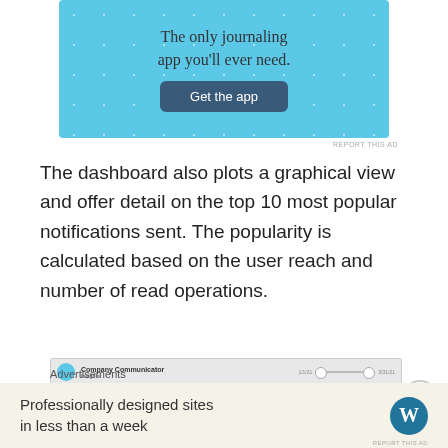[Figure (screenshot): Blue journaling app advertisement with text 'The only journaling app you'll ever need.' and a dark blue 'Get the app' button]
REPORT THIS AD
The dashboard also plots a graphical view and offer detail on the top 10 most popular notifications sent. The popularity is calculated based on the user reach and number of read operations.
[Figure (screenshot): Company Communicator Insights dashboard showing metrics: Average Popularity 0.56%, Users Reached 2218, Failed 27, and a Total, Failed and Viewed by Day chart]
Advertisements
[Figure (screenshot): WordPress advertisement: Professionally designed sites in less than a week, with WordPress (W) logo]
REPORT THIS AD